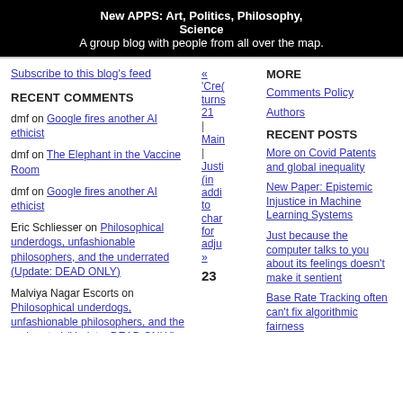New APPS: Art, Politics, Philosophy, Science
A group blog with people from all over the map.
Subscribe to this blog's feed
RECENT COMMENTS
dmf on Google fires another AI ethicist
dmf on The Elephant in the Vaccine Room
dmf on Google fires another AI ethicist
Eric Schliesser on Philosophical underdogs, unfashionable philosophers, and the underrated (Update: DEAD ONLY)
Malviya Nagar Escorts on Philosophical underdogs, unfashionable philosophers, and the underrated (Update: DEAD ONLY)
khan on Philosophy in the age of
« 'Cre( turns 21 | Main | Justi (in addi to char for adju »
23
MORE
Comments Policy
Authors
RECENT POSTS
More on Covid Patents and global inequality
New Paper: Epistemic Injustice in Machine Learning Systems
Just because the computer talks to you about its feelings doesn't make it sentient
Base Rate Tracking often can't fix algorithmic fairness
Clearview settles Facial Recognition Case